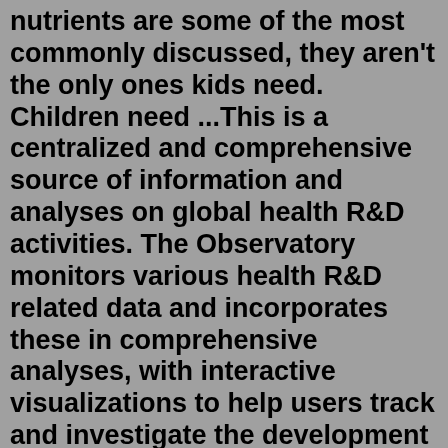nutrients are some of the most commonly discussed, they aren't the only ones kids need. Children need ...This is a centralized and comprehensive source of information and analyses on global health R&D activities. The Observatory monitors various health R&D related data and incorporates these in comprehensive analyses, with interactive visualizations to help users track and investigate the development in health R&D across many dimensions.Statistics. Packs cp 2022 mega links have 2 posts, 1 topics, 3 members, 2,747 total visits, 1,567 monthly visits 496º in Top Forum. Warner J G Guerrero last user. Your Top 5 Winter Essentials In New Zealand. Born at Bells Beach in 1969, Rip Curl's vision is to be regarded as the Ultimate Surfing Company in all that we do. Our online surf shop has apparel, gear, and other accessories so you can be ready for any adventure. Explore our line-up of quality wetsuits, boardshorts, bikinis, tide watches, and more.Harry Potter, Winged Key Pendant. NZ$129.00 NZ$95.00 SALE | LAST CHANCE TO